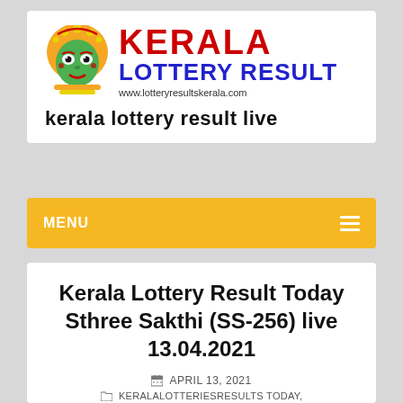[Figure (logo): Kerala Lottery Result website logo with Kathakali face illustration, KERALA text in red, LOTTERY RESULT in blue, and URL www.lotteryresultskerala.com]
kerala lottery result live
MENU
Kerala Lottery Result Today Sthree Sakthi (SS-256) live 13.04.2021
APRIL 13, 2021
KERALALOTTERIESRESULTS TODAY, STHREE SAKTHI LOTTERY RESULTS